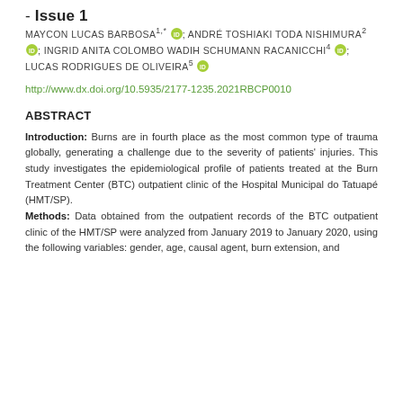- Issue 1
MAYCON LUCAS BARBOSA1,*; ANDRÉ TOSHIAKI TODA NISHIMURA2; INGRID ANITA COLOMBO WADIH SCHUMANN RACANICCHI4; LUCAS RODRIGUES DE OLIVEIRA5
http://www.dx.doi.org/10.5935/2177-1235.2021RBCP0010
ABSTRACT
Introduction: Burns are in fourth place as the most common type of trauma globally, generating a challenge due to the severity of patients' injuries. This study investigates the epidemiological profile of patients treated at the Burn Treatment Center (BTC) outpatient clinic of the Hospital Municipal do Tatuapé (HMT/SP). Methods: Data obtained from the outpatient records of the BTC outpatient clinic of the HMT/SP were analyzed from January 2019 to January 2020, using the following variables: gender, age, causal agent, burn extension, and